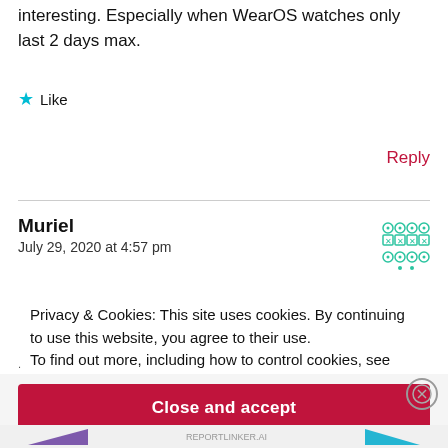interesting. Especially when WearOS watches only last 2 days max.
Like
Reply
Muriel
July 29, 2020 at 4:57 pm
Privacy & Cookies: This site uses cookies. By continuing to use this website, you agree to their use.
To find out more, including how to control cookies, see here:
Cookie Policy
Close and accept